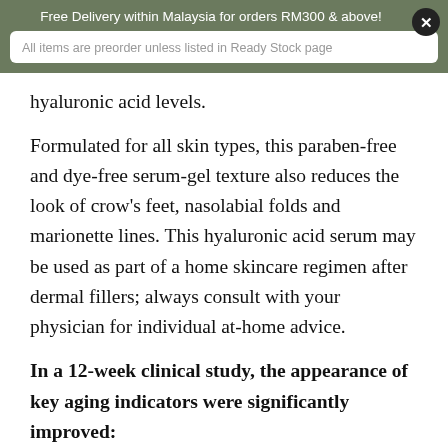Free Delivery within Malaysia for orders RM300 & above!
All items are preorder unless listed in Ready Stock page
hyaluronic acid levels.
Formulated for all skin types, this paraben-free and dye-free serum-gel texture also reduces the look of crow's feet, nasolabial folds and marionette lines. This hyaluronic acid serum may be used as part of a home skincare regimen after dermal fillers; always consult with your physician for individual at-home advice.
In a 12-week clinical study, the appearance of key aging indicators were significantly improved:
23% improvement in plumpness
9% decrease in sagginess